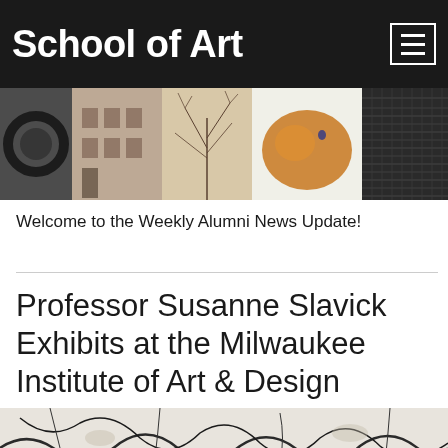School of Art
[Figure (photo): Horizontal collage strip of five artistic images: a tire, a brick building, dried branches, an amber glass object, and a dark textured fabric]
Welcome to the Weekly Alumni News Update!
Professor Susanne Slavick Exhibits at the Milwaukee Institute of Art & Design
[Figure (photo): Close-up photograph of a cracked white and black surface, resembling dried earth or abstract textured artwork]